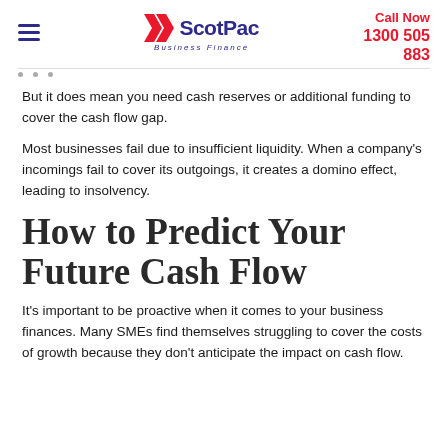ScotPac Business Finance | Call Now 1300 505 883
But it does mean you need cash reserves or additional funding to cover the cash flow gap.
Most businesses fail due to insufficient liquidity. When a company's incomings fail to cover its outgoings, it creates a domino effect, leading to insolvency.
How to Predict Your Future Cash Flow
It's important to be proactive when it comes to your business finances. Many SMEs find themselves struggling to cover the costs of growth because they don't anticipate the impact on cash flow.